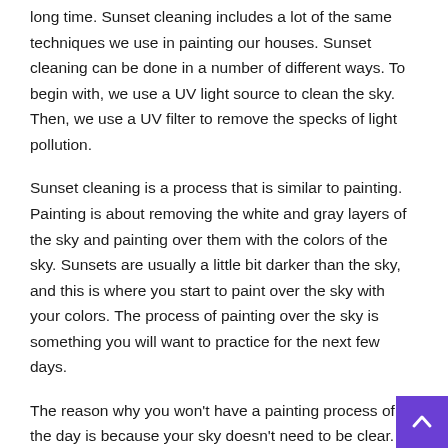long time. Sunset cleaning includes a lot of the same techniques we use in painting our houses. Sunset cleaning can be done in a number of different ways. To begin with, we use a UV light source to clean the sky. Then, we use a UV filter to remove the specks of light pollution.
Sunset cleaning is a process that is similar to painting. Painting is about removing the white and gray layers of the sky and painting over them with the colors of the sky. Sunsets are usually a little bit darker than the sky, and this is where you start to paint over the sky with your colors. The process of painting over the sky is something you will want to practice for the next few days.
The reason why you won't have a painting process of the day is because your sky doesn't need to be clear. The sky isn't completely clear, and you actually don't need to paint over it. You can paint over the sky with your colors, but